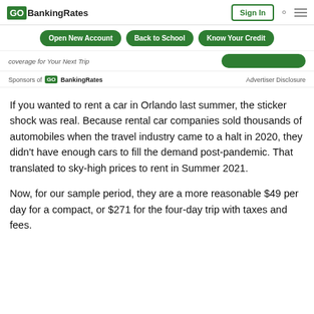GOBankingRates | Sign In
Open New Account | Back to School | Know Your Credit
coverage for Your Next Trip
Sponsors of GOBankingRates    Advertiser Disclosure
If you wanted to rent a car in Orlando last summer, the sticker shock was real. Because rental car companies sold thousands of automobiles when the travel industry came to a halt in 2020, they didn't have enough cars to fill the demand post-pandemic. That translated to sky-high prices to rent in Summer 2021.
Now, for our sample period, they are a more reasonable $49 per day for a compact, or $271 for the four-day trip with taxes and fees.